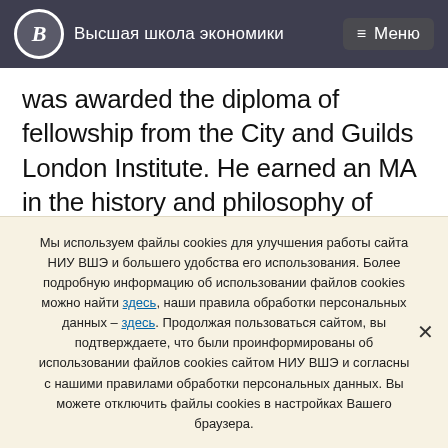Высшая школа экономики  ≡ Меню
was awarded the diploma of fellowship from the City and Guilds London Institute. He earned an MA in the history and philosophy of Science and Technology at the University of Toronto in 2009.  In 2010 he was appointed as Adjunct Lecturer in the department of mechanical and Industrial engineering at the University of Toronto. In 2014 he was appointed Professor of Innovation in the Faculty of Applied Science and
Мы используем файлы cookies для улучшения работы сайта НИУ ВШЭ и большего удобства его использования. Более подробную информацию об использовании файлов cookies можно найти здесь, наши правила обработки персональных данных – здесь. Продолжая пользоваться сайтом, вы подтверждаете, что были проинформированы об использовании файлов cookies сайтом НИУ ВШЭ и согласны с нашими правилами обработки персональных данных. Вы можете отключить файлы cookies в настройках Вашего браузера.